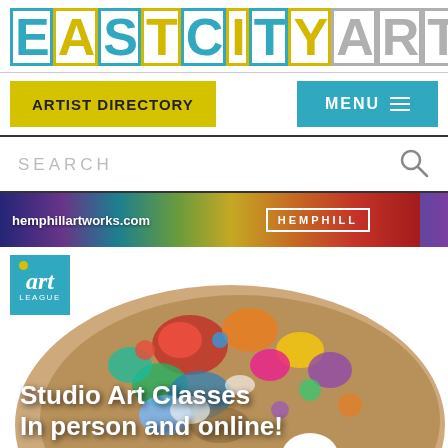[Figure (logo): East City Art logo in large block letters with blue and yellow colors and borders]
ARTIST DIRECTORY   MENU
SEARCH
[Figure (illustration): Hemphill Art Works banner advertisement with rainbow stripe background, hemphillartworks.com text on left and HEMPHILL in white bordered box on right]
[Figure (photo): Art League advertisement showing a colorful paint palette with Studio Art Classes In person and online! text overlay, with art league logo in top left corner]